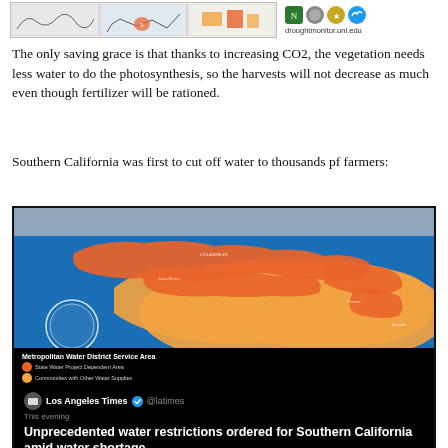[Figure (screenshot): Drought monitor map strip with logos and droughtmonitor.uni.edu URL at top of page]
The only saving grace is that thanks to increasing CO2, the vegetation needs less water to do the photosynthesis, so the harvests will not decrease as much even though fertilizer will be rationed.
Southern California was first to cut off water to thousands pf farmers:
[Figure (screenshot): Screenshot of a map showing Metropolitan Water District Service Area in Southern California with orange and red regions indicating State Water Project Dependent Areas and Communities with Other Water Supplies, with a tweet from Los Angeles Times @latimes reading 'This evening' and 'Unprecedented water restrictions ordered for Southern California amid water shortage']